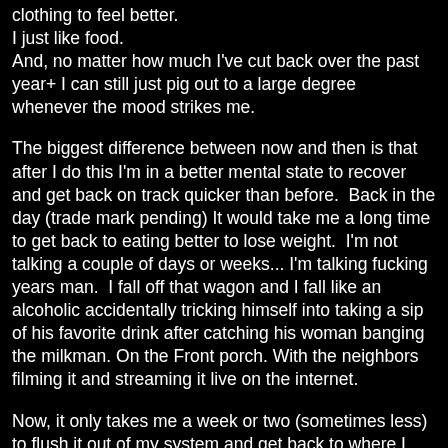clothing to feel better.
I just like food.
And, no matter how much I've cut back over the past year+ I can still just pig out to a large degree whenever the mood strikes me.
The biggest difference between now and then is that after I do this I'm in a better mental state to recover and get back on track quicker than before.  Back in the day (trade mark pending) It would take me a long time to get back to eating better to lose weight.  I'm not talking a couple of days or weeks... I'm talking fucking years man.  I fall off that wagon and I fall like an alcoholic accidentally tricking himself into taking a sip of his favorite drink after catching his woman banging the milkman. On the Front porch. With the neighbors filming it and streaming it live on the internet.
Now, it only takes me a week or two (sometimes less) to flush it out of my system and get back to where I should be.  I don't fall for as long and I don't fall nearly as hard as now when I give in and go on a week long bender I only maintain my weight instead of adding back the pounds and having to